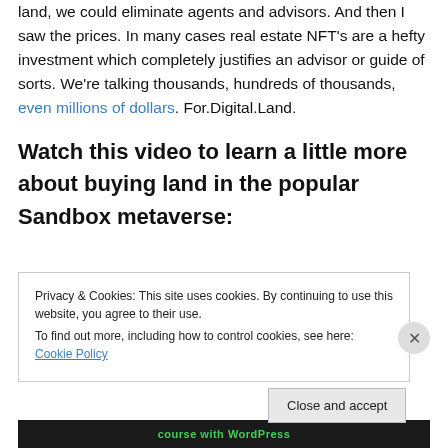land, we could eliminate agents and advisors. And then I saw the prices. In many cases real estate NFT's are a hefty investment which completely justifies an advisor or guide of sorts. We're talking thousands, hundreds of thousands, even millions of dollars. For.Digital.Land.
Watch this video to learn a little more about buying land in the popular Sandbox metaverse:
Privacy & Cookies: This site uses cookies. By continuing to use this website, you agree to their use. To find out more, including how to control cookies, see here: Cookie Policy
Close and accept
[Figure (screenshot): Bottom portion of a video thumbnail with green text 'course with WordPress' on dark background]